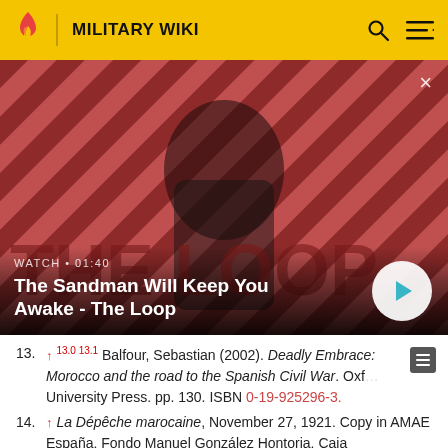MILITARY WIKI
[Figure (screenshot): Video thumbnail with dark-robed figure against red and black diagonal stripe background. Text overlay: WATCH • 01:40 / The Sandman Will Keep You Awake - The Loop. Play button visible on right.]
13. ↑ 13.0 13.1 Balfour, Sebastian (2002). Deadly Embrace: Morocco and the road to the Spanish Civil War. Oxford University Press. pp. 130. ISBN 0-19-925296-3.
14. ↑ La Dépêche marocaine, November 27, 1921. Copy in AMAE España, Fondo Manuel González Hontoria, Caja